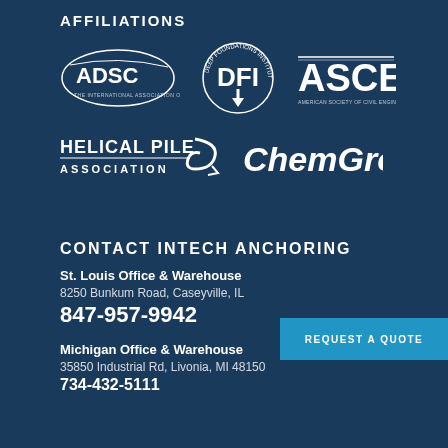AFFILIATIONS
[Figure (logo): Row of organization logos: ADSC (The International Association of Foundation Drilling), DFI (Deep Foundations Institute), ASCE (American Society of Civil Engineers)]
[Figure (logo): Row of organization logos: Helical Pile Association, ChemGrout]
CONTACT INTECH ANCHORING
St. Louis Office & Warehouse
8250 Bunkum Road, Caseyville, IL
847-957-9942
Michigan Office & Warehouse
35850 Industrial Rd, Livonia, MI 48150
734-432-5111
REQUEST A QUOTE